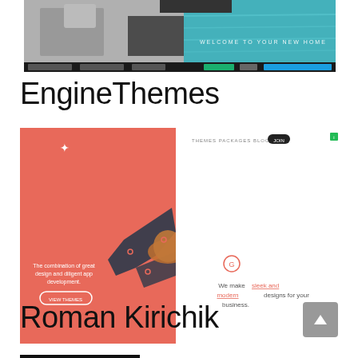[Figure (screenshot): Screenshot of a website with a two-panel header: left panel in black and white showing a person, right panel showing teal/blue water with text 'WELCOME TO YOUR NEW HOME'. Below is a dark navigation bar with buttons.]
EngineThemes
[Figure (screenshot): Screenshot of the EngineThemes website showing a coral/salmon colored left panel with a hummingbird graphic, text 'The combination of great design and diligent app development.' and a 'VIEW THEMES' button. Right panel shows a white background with navigation and text 'We make sleek and modern designs for your business.' A green info button appears top right. A gray back-to-top arrow button appears at bottom right.]
Roman Kirichik